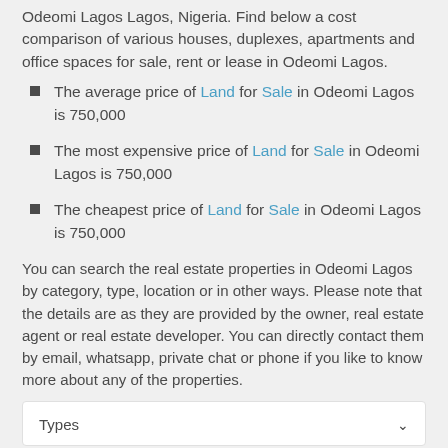Odeomi Lagos Lagos, Nigeria. Find below a cost comparison of various houses, duplexes, apartments and office spaces for sale, rent or lease in Odeomi Lagos.
The average price of Land for Sale in Odeomi Lagos is 750,000
The most expensive price of Land for Sale in Odeomi Lagos is 750,000
The cheapest price of Land for Sale in Odeomi Lagos is 750,000
You can search the real estate properties in Odeomi Lagos by category, type, location or in other ways. Please note that the details are as they are provided by the owner, real estate agent or real estate developer. You can directly contact them by email, whatsapp, private chat or phone if you like to know more about any of the properties.
Types